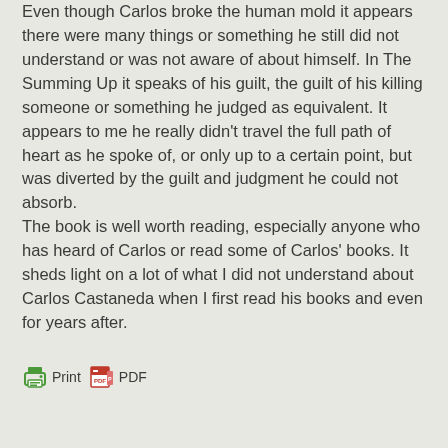Even though Carlos broke the human mold it appears there were many things or something he still did not understand or was not aware of about himself. In The Summing Up it speaks of his guilt, the guilt of his killing someone or something he judged as equivalent. It appears to me he really didn't travel the full path of heart as he spoke of, or only up to a certain point, but was diverted by the guilt and judgment he could not absorb. The book is well worth reading, especially anyone who has heard of Carlos or read some of Carlos' books. It sheds light on a lot of what I did not understand about Carlos Castaneda when I first read his books and even for years after.
[Figure (other): Print and PDF buttons with icons]